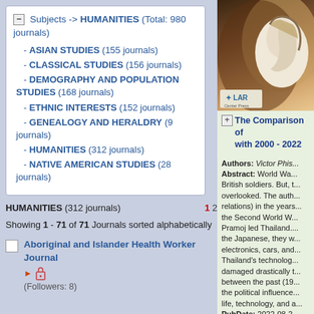Subjects -> HUMANITIES (Total: 980 journals)
- ASIAN STUDIES (155 journals)
- CLASSICAL STUDIES (156 journals)
- DEMOGRAPHY AND POPULATION STUDIES (168 journals)
- ETHNIC INTERESTS (152 journals)
- GENEALOGY AND HERALDRY (9 journals)
- HUMANITIES (312 journals)
- NATIVE AMERICAN STUDIES (28 journals)
HUMANITIES (312 journals)  1 2
Showing 1 - 71 of 71 Journals sorted alphabetically
Aboriginal and Islander Health Worker Journal ► 🔒 (Followers: 8)
[Figure (photo): Book cover image showing a classical cameo profile of a figure in white against a brown background, with LAR Center Press logo at bottom left]
The Comparison of with 2000 - 2022
Authors: Victor Phis...
Abstract: World Wa... British soldiers. But, t... overlooked. The auth... relations) in the years... the Second World W... Pramoj led Thailand.... the Japanese, they w... electronics, cars, and... Thailand's technolog... damaged drastically t... between the past (19... the political influence... life, technology, and a...
PubDate: 2022-08-2...
DOI: 10.18533/jah.v1...
Issue No: Vol. 11, N...